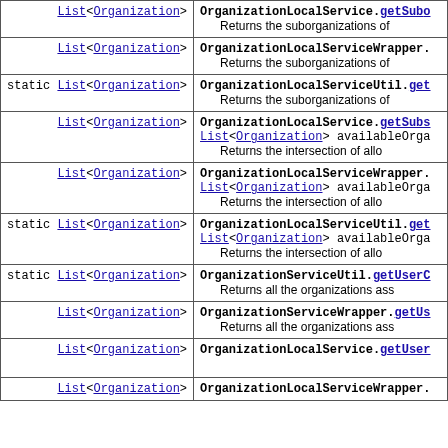| Return Type | Method/Description |
| --- | --- |
| List<Organization> | OrganizationLocalService.getSubc...
Returns the suborganizations of |
| List<Organization> | OrganizationLocalServiceWrapper.
Returns the suborganizations of |
| static List<Organization> | OrganizationLocalServiceUtil.get...
Returns the suborganizations of |
| List<Organization> | OrganizationLocalService.getSubsa...
List<Organization> availableOrga...
Returns the intersection of allo |
| List<Organization> | OrganizationLocalServiceWrapper.
List<Organization> availableOrga...
Returns the intersection of allo |
| static List<Organization> | OrganizationLocalServiceUtil.get...
List<Organization> availableOrga...
Returns the intersection of allo |
| static List<Organization> | OrganizationServiceUtil.getUserC...
Returns all the organizations ass |
| List<Organization> | OrganizationServiceWrapper.getUs...
Returns all the organizations ass |
| List<Organization> | OrganizationLocalService.getUser... |
| List<Organization> | OrganizationLocalServiceWrapper. |